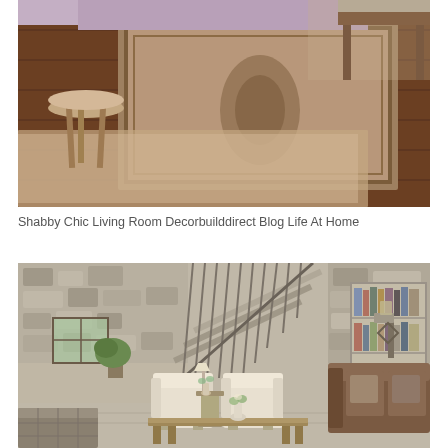[Figure (photo): Shabby chic living room interior with vintage Persian-style rugs on dark hardwood floor, a round wooden stool, purple/lavender upholstered sofa, and wooden bench. Warm earth tones throughout.]
Shabby Chic Living Room Decorbuilddirect Blog Life At Home
[Figure (photo): Rustic farmhouse living room with exposed stone walls, metal staircase railing, cream armchairs, wooden coffee table, bookshelf built into wall, brown leather sofa with cushions, and industrial-style wall lamp.]